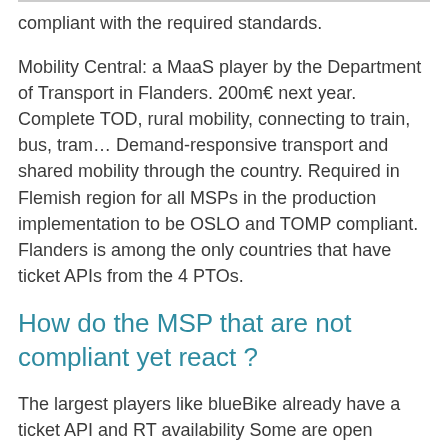compliant with the required standards.
Mobility Central: a MaaS player by the Department of Transport in Flanders. 200m€ next year. Complete TOD, rural mobility, connecting to train, bus, tram… Demand-responsive transport and shared mobility through the country. Required in Flemish region for all MSPs in the production implementation to be OSLO and TOMP compliant. Flanders is among the only countries that have ticket APIs from the 4 PTOs.
How do the MSP that are not compliant yet react ?
The largest players like blueBike already have a ticket API and RT availability Some are open